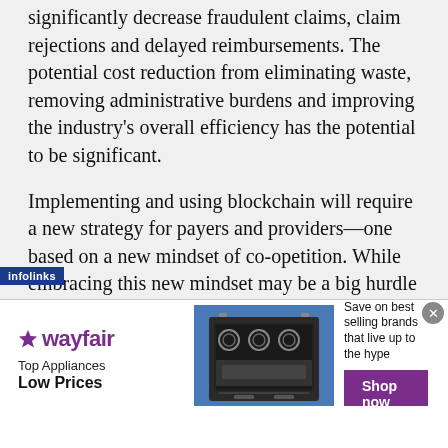significantly decrease fraudulent claims, claim rejections and delayed reimbursements. The potential cost reduction from eliminating waste, removing administrative burdens and improving the industry's overall efficiency has the potential to be significant.
Implementing and using blockchain will require a new strategy for payers and providers—one based on a new mindset of co-opetition. While embracing this new mindset may be a big hurdle to overcome, it's clear that fluid, permissioned data access between patients, providers, payers, and vendors is [ential for delivering quality care and an
[Figure (other): Wayfair advertisement banner: Top Appliances Low Prices with appliance image and Shop now button, overlaid with infolinks bar]